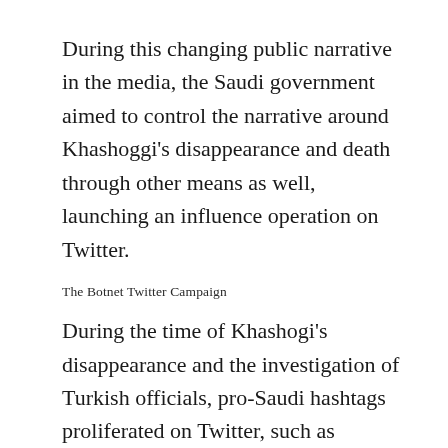During this changing public narrative in the media, the Saudi government aimed to control the narrative around Khashoggi's disappearance and death through other means as well, launching an influence operation on Twitter.
The Botnet Twitter Campaign
During the time of Khashogi's disappearance and the investigation of Turkish officials, pro-Saudi hashtags proliferated on Twitter, such as #الغاء_متابعه_اعداء_الوطن (#unfollow_enemies_of_the_nation); the hashtag was active for four days (from October 14, 2018 to October 18, 2018) and appeared more than 100,000 times. As the influence campaign unfolded on Twitter, a group of disinformation investigators, including independent researcher Josh Russell, Marc Owen Jones of Hamad bin